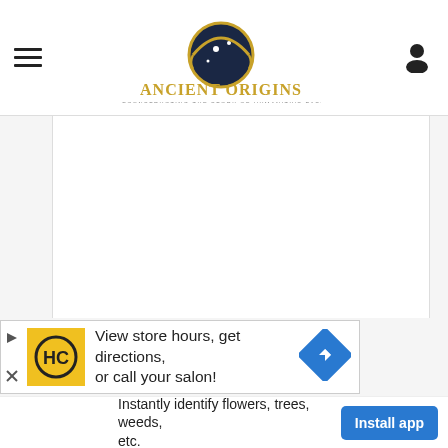Ancient Origins – Reconstructing the Story of Humanity's Past
[Figure (screenshot): White article content area (blank/loading)]
[Figure (infographic): Advertisement banner: HC salon logo with text 'View store hours, get directions, or call your salon!' and a blue diamond navigation icon]
[Figure (infographic): Advertisement banner: 'Instantly identify flowers, trees, weeds, etc.' with blue 'Install app' button]